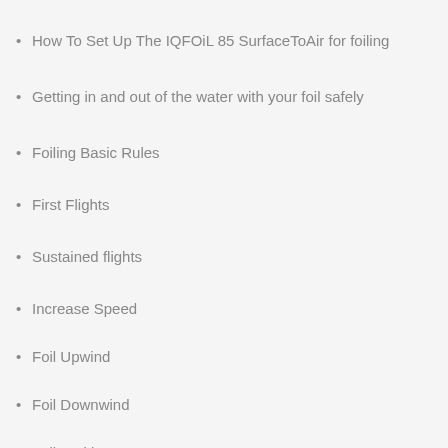How To Set Up The IQFOiL 85 SurfaceToAir for foiling
Getting in and out of the water with your foil safely
Foiling Basic Rules
First Flights
Sustained flights
Increase Speed
Foil Upwind
Foil Downwind
Foil Tacking
Foil Gybing